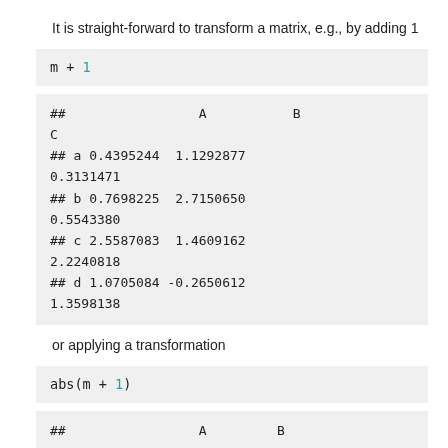It is straight-forward to transform a matrix, e.g., by adding 1
## A B C
## a 0.4395244 1.1292877 0.3131471
## b 0.7698225 2.7150650 0.5543380
## c 2.5587083 1.4609162 2.2240818
## d 1.0705084 -0.2650612 1.3598138
or applying a transformation
## A B C
## a 0.4395244 1.1292877 0.3131471